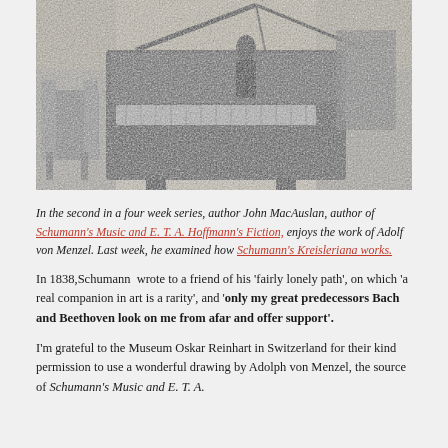[Figure (illustration): A charcoal or pencil sketch of a room with a grand piano, a chair, and a standing figure near the piano. The drawing is dark and atmospheric, rendered in grey tones.]
In the second in a four week series, author John MacAuslan, author of Schumann's Music and E. T. A. Hoffmann's Fiction, enjoys the work of Adolf von Menzel. Last week, he examined how Schumann's Kreisleriana works.
In 1838,Schumann  wrote to a friend of his 'fairly lonely path', on which 'a real companion in art is a rarity', and 'only my great predecessors Bach and Beethoven look on me from afar and offer support'.
I'm grateful to the Museum Oskar Reinhart in Switzerland for their kind permission to use a wonderful drawing by Adolph von Menzel, the source of Schumann's Music and E. T. A.